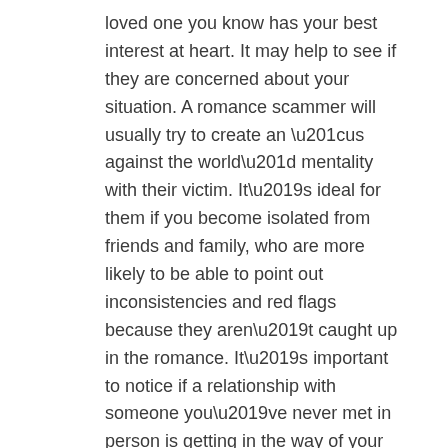loved one you know has your best interest at heart. It may help to see if they are concerned about your situation. A romance scammer will usually try to create an “us against the world” mentality with their victim. It’s ideal for them if you become isolated from friends and family, who are more likely to be able to point out inconsistencies and red flags because they aren’t caught up in the romance. It’s important to notice if a relationship with someone you’ve never met in person is getting in the way of your relationships with friends and family.
Online relationship tips:
(https://www.hsbc.co.uk/help/security-centre/how-to-avoid-romance-scams/)
If several of the points below apply to an online relationship, you’re in, it could be a sign you’re